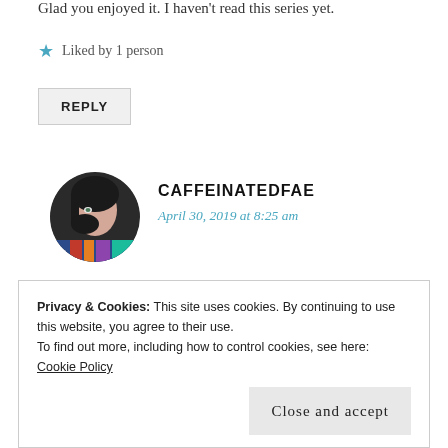Glad you enjoyed it. I haven't read this series yet.
★ Liked by 1 person
REPLY
[Figure (photo): Circular avatar photo of a person with dark hair partially covering their face, holding books with colorful spines]
CAFFEINATEDFAE
April 30, 2019 at 8:25 am
I hope you enjoy it if you find the time to pick it up!
Privacy & Cookies: This site uses cookies. By continuing to use this website, you agree to their use.
To find out more, including how to control cookies, see here: Cookie Policy
Close and accept